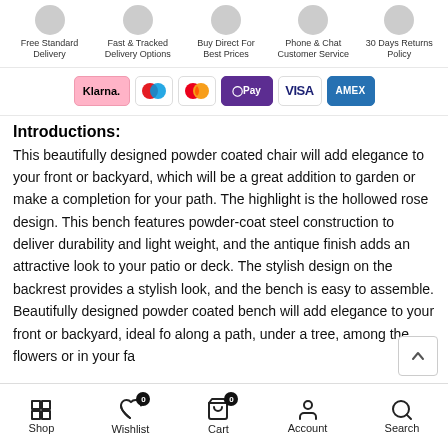[Figure (infographic): Top bar with 5 service icons: Free Standard Delivery, Fast & Tracked Delivery Options, Buy Direct For Best Prices, Phone & Chat Customer Service, 30 Days Returns Policy]
[Figure (infographic): Payment method badges: Klarna, Maestro, Mastercard, O Pay, VISA, AMEX]
Introductions:
This beautifully designed powder coated chair will add elegance to your front or backyard, which will be a great addition to garden or make a completion for your path. The highlight is the hollowed rose design. This bench features powder-coat steel construction to deliver durability and light weight, and the antique finish adds an attractive look to your patio or deck. The stylish design on the backrest provides a stylish look, and the bench is easy to assemble. Beautifully designed powder coated bench will add elegance to your front or backyard, ideal fo along a path, under a tree, among the flowers or in your fa
Shop  Wishlist 0  Cart 0  Account  Search